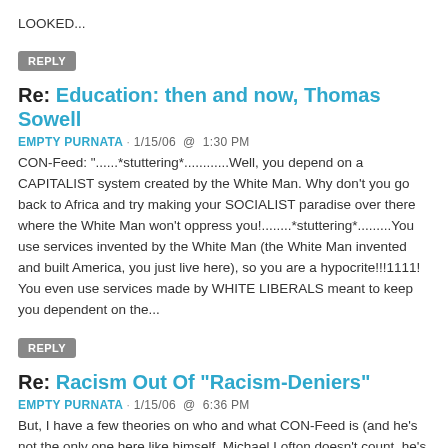LOOKED...
REPLY
Re: Education: then and now, Thomas Sowell
EMPTY PURNATA · 1/15/06  @  1:30 PM
CON-Feed: "......*stuttering*............Well, you depend on a CAPITALIST system created by the White Man. Why don't you go back to Africa and try making your SOCIALIST paradise over there where the White Man won't oppress you!........*stuttering*.........You use services invented by the White Man (the White Man invented and built America, you just live here), so you are a hypocrite!!!1111! You even use services made by WHITE LIBERALS meant to keep you dependent on the...
REPLY
Re: Racism Out Of "Racism-Deniers"
EMPTY PURNATA · 1/15/06  @  6:36 PM
But, I have a few theories on who and what CON-Feed is (and he's not the only one here like himself, Michael Lofton doesn't count, he's a Spambot): 1) A CONSERVATIVE WHITE GUY WHO VIEWS BLACK PEOPLE AS BEING "BENEATH HIM" COMING HERE TO SPAM THE SITE WITH TRIPE (WHILE